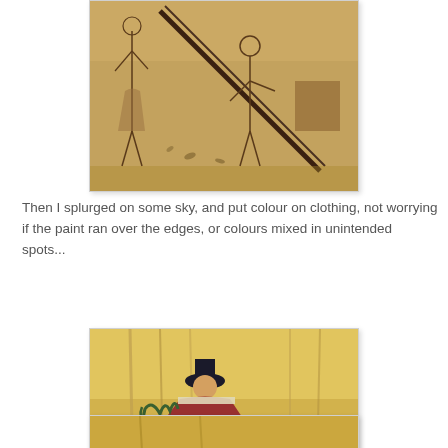[Figure (photo): Sepia-toned pencil sketch or drawing of figures outdoors, appearing to show people with a tree and chopping scene]
Then I splurged on some sky, and put colour on clothing, not worrying if the paint ran over the edges, or colours mixed in unintended spots...
[Figure (photo): Sepia-toned illustration showing a Santa Claus-like figure in a red coat carrying green branches, with another figure stooped beside them, and background sketched forest figures]
[Figure (photo): Partially visible sepia-toned illustration at bottom of page]